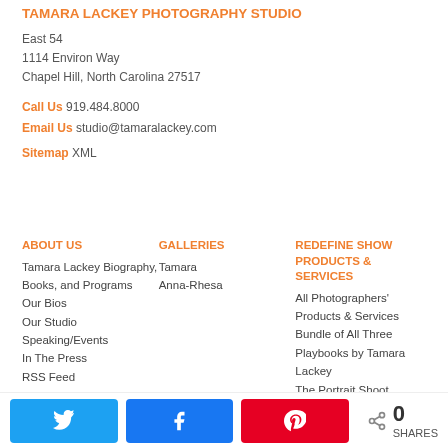TAMARA LACKEY PHOTOGRAPHY STUDIO
East 54
1114 Environ Way
Chapel Hill, North Carolina 27517
Call Us 919.484.8000
Email Us studio@tamaralackey.com
Sitemap XML
ABOUT US
Tamara Lackey Biography, Books, and Programs
Our Bios
Our Studio
Speaking/Events
In The Press
RSS Feed
GALLERIES
Tamara
Anna-Rhesa
REDEFINE SHOW PRODUCTS & SERVICES
All Photographers' Products & Services
Bundle of All Three Playbooks by Tamara Lackey
The Portrait Shoot Playbook
The Posing Playbook
The Family Posing Playbook
Tuscany
[Figure (infographic): Social share bar with Twitter, Facebook, Pinterest buttons and share count of 0]